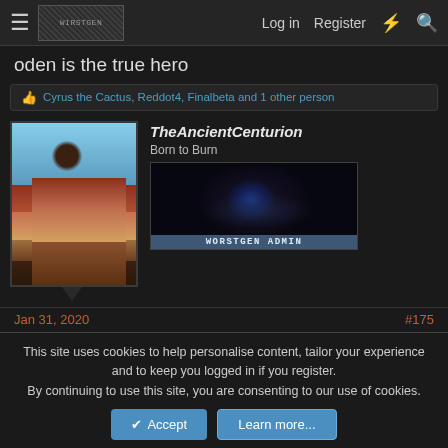Log in  Register
oden is the true hero
Cyrus the Cactus, Reddot4, Finalbeta and 1 other person
TheAncientCenturion
Born to Burn
[Figure (illustration): Forum user avatar showing an anime/manga style character with a gun, and a WORSTGEN ADMIN badge image]
Jan 31, 2020
#175
This site uses cookies to help personalise content, tailor your experience and to keep you logged in if you register.
By continuing to use this site, you are consenting to our use of cookies.
Accept  Learn more...